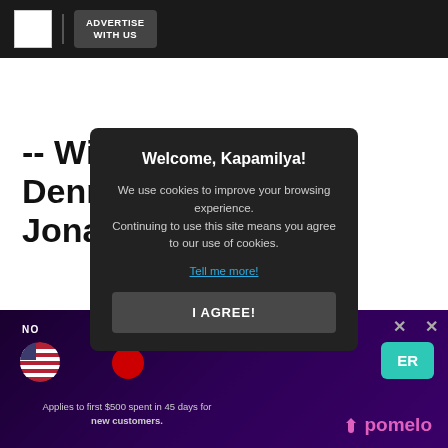ADVERTISE WITH US
-- With reports from Dennis Datu and Jonathan Magistrad
Welcome, Kapamilya!
We use cookies to improve your browsing experience.
Continuing to use this site means you agree to our use of cookies.
Tell me more!
I AGREE!
[Figure (screenshot): Bottom advertisement banner with pomelo branding, US flag icon, register button, and text: Applies to first $500 spent in 45 days for new customers.]